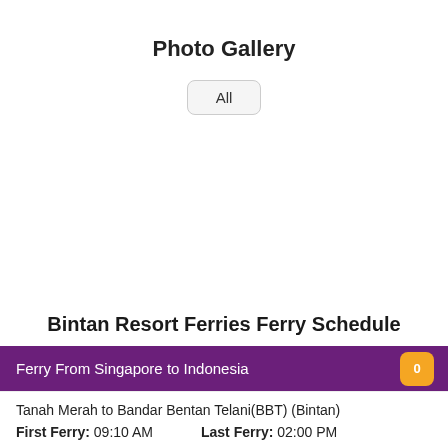Photo Gallery
All
Bintan Resort Ferries Ferry Schedule
Ferry From Singapore to Indonesia
Tanah Merah to Bandar Bentan Telani(BBT) (Bintan)
First Ferry: 09:10 AM    Last Ferry: 02:00 PM